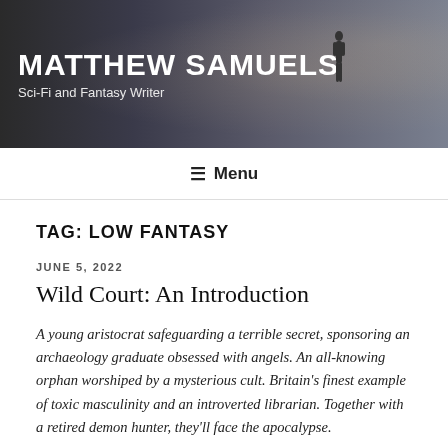MATTHEW SAMUELS
Sci-Fi and Fantasy Writer
Menu
TAG: LOW FANTASY
JUNE 5, 2022
Wild Court: An Introduction
A young aristocrat safeguarding a terrible secret, sponsoring an archaeology graduate obsessed with angels. An all-knowing orphan worshiped by a mysterious cult. Britain's finest example of toxic masculinity and an introverted librarian. Together with a retired demon hunter, they'll face the apocalypse.